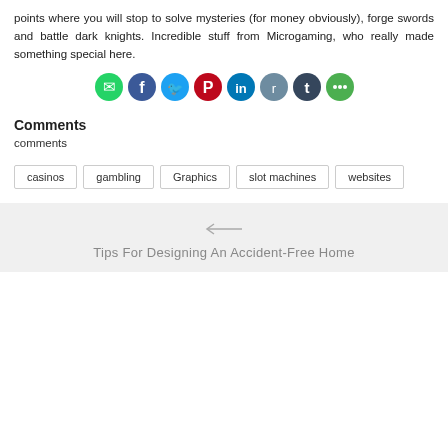points where you will stop to solve mysteries (for money obviously), forge swords and battle dark knights. Incredible stuff from Microgaming, who really made something special here.
[Figure (infographic): Row of social media share icons: WhatsApp (green), Facebook (dark blue), Twitter (light blue), Pinterest (red), LinkedIn (blue), Reddit (gray-blue), Tumblr (dark blue), More (green)]
Comments
comments
casinos
gambling
Graphics
slot machines
websites
Tips For Designing An Accident-Free Home